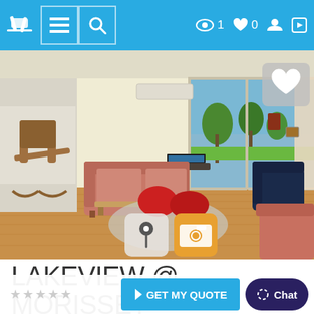Navigation bar with logo, menu, search, views: 1, favorites: 0, account, phone
[Figure (photo): Interior living room of Lakeview @ Morisset Park showing leather couches, rocking chair, bean bags, hardwood floor, sliding glass doors with lake view and trees outside, air conditioning unit on wall. Overlays: heart button top right, map pin button and camera button center bottom.]
LAKEVIEW @ MORISSET PARK
$765 - $1020 Per Night
GET MY QUOTE   Chat